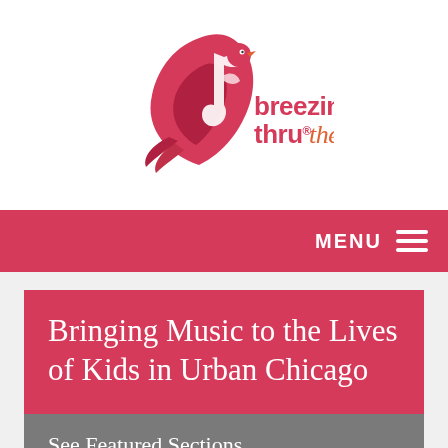[Figure (logo): Breezin' Thru Theory logo with red bird/music note graphic and orange/red text reading 'breezin' thru theory']
MENU
Bringing Music to the Lives of Kids in Urban Chicago
See Featured Sections
Blog for Educators
Drill-ceptional Results
Events
Product News